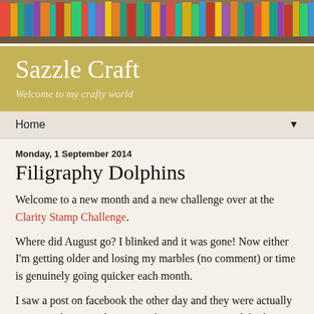[Figure (photo): Colorful bookshelf header image with spines of many books in various colors]
Sazzle Craft
Welcome to my crafty world
Home ▼
Monday, 1 September 2014
Filigraphy Dolphins
Welcome to a new month and a new challenge over at the Clarity Stamp Challenge.
Where did August go?  I blinked and it was gone!  Now either I'm getting older and losing my marbles (no comment) or time is genuinely going quicker each month.
I saw a post on facebook the other day and they were actually counting down to Christmas.  I haven't even started thinking about